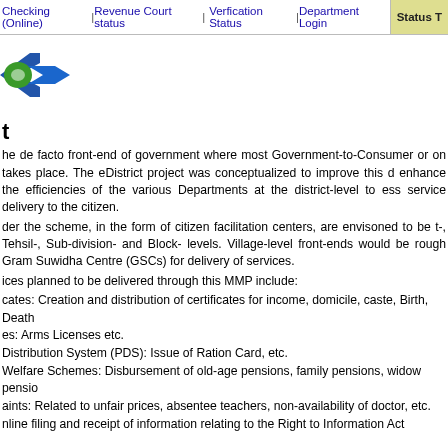Checking (Online)|Revenue Court status| Verfication Status|Department Login  Status T
[Figure (logo): eDistrict logo with blue and green arrow/chevron shapes]
t
he de facto front-end of government where most Government-to-Consumer or on takes place. The eDistrict project was conceptualized to improve this d enhance the efficiencies of the various Departments at the district-level to ess service delivery to the citizen.
der the scheme, in the form of citizen facilitation centers, are envisoned to be t-, Tehsil-, Sub-division- and Block- levels. Village-level front-ends would be rough Gram Suwidha Centre (GSCs) for delivery of services.
ices planned to be delivered through this MMP include:
cates: Creation and distribution of certificates for income, domicile, caste, Birth, Death
es: Arms Licenses etc.
Distribution System (PDS): Issue of Ration Card, etc.
Welfare Schemes: Disbursement of old-age pensions, family pensions, widow pensio
aints: Related to unfair prices, absentee teachers, non-availability of doctor, etc.
nline filing and receipt of information relating to the Right to Information Act